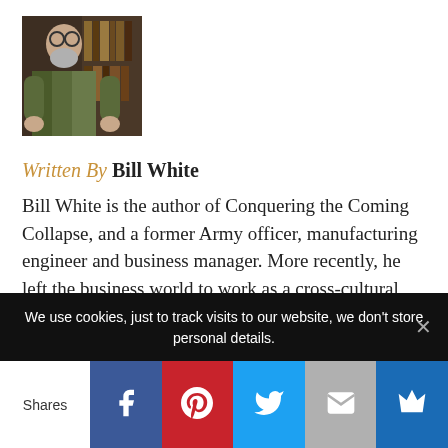[Figure (photo): Author photo of Bill White, a man with gray beard wearing camouflage, sitting in front of bookshelves]
Written By Bill White
Bill White is the author of Conquering the Coming Collapse, and a former Army officer, manufacturing engineer and business manager. More recently, he left the business world to work as a cross-cultural missionary on the Mexico
We use cookies, just to track visits to our website, we don't store personal details.
Shares